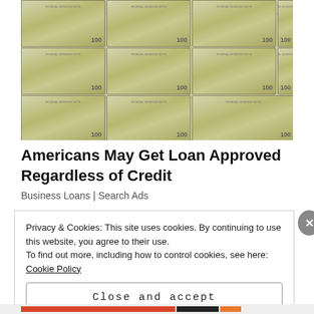[Figure (photo): Stacks of bundled US $100 dollar bills arranged in a grid pattern, with a hand visible at the top]
Americans May Get Loan Approved Regardless of Credit
Business Loans | Search Ads
Privacy & Cookies: This site uses cookies. By continuing to use this website, you agree to their use.
To find out more, including how to control cookies, see here: Cookie Policy
Close and accept